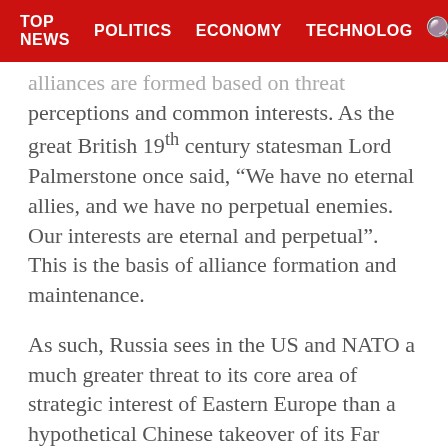TOP NEWS  POLITICS  ECONOMY  TECHNOLOG
alliances are formed based on threat perceptions and common interests. As the great British 19th century statesman Lord Palmerstone once said, “We have no eternal allies, and we have no perpetual enemies. Our interests are eternal and perpetual”. This is the basis of alliance formation and maintenance.
As such, Russia sees in the US and NATO a much greater threat to its core area of strategic interest of Eastern Europe than a hypothetical Chinese takeover of its Far East.
Russian and Chinese interests converge on a number of issues such as Syria, Afghanistan,